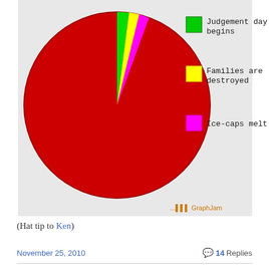[Figure (pie-chart): Pie chart showing a large red circle (nearly 100% slice) with a legend: green = Judgement day begins, yellow = Families are destroyed, magenta = Ice-caps melt. Branding: GraphJam logo bottom right.]
(Hat tip to Ken)
November 25, 2010   14 Replies
Do your beliefs about global warming make you a champion of ignorance?